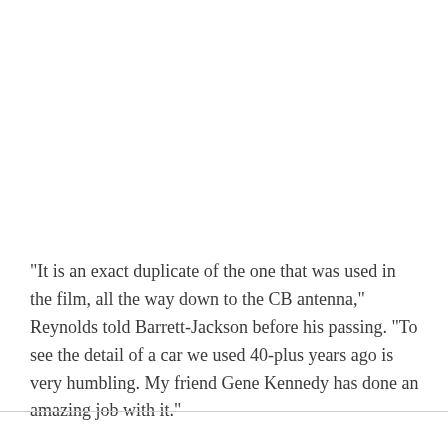"It is an exact duplicate of the one that was used in the film, all the way down to the CB antenna," Reynolds told Barrett-Jackson before his passing. "To see the detail of a car we used 40-plus years ago is very humbling. My friend Gene Kennedy has done an amazing job with it."